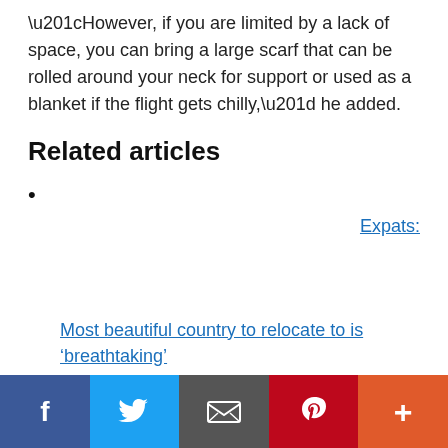“However, if you are limited by a lack of space, you can bring a large scarf that can be rolled around your neck for support or used as a blanket if the flight gets chilly,” he added.
Related articles
Expats:
Most beautiful country to relocate to is ‘breathtaking’
[Figure (other): Social sharing bar with Facebook, Twitter, Email, Pinterest, and More (+) buttons]